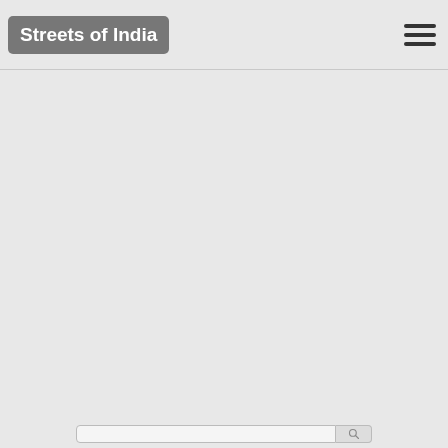Streets of India
[Figure (screenshot): Empty main content area with light gray background]
[Figure (other): Search bar with text input and search button at bottom of page]